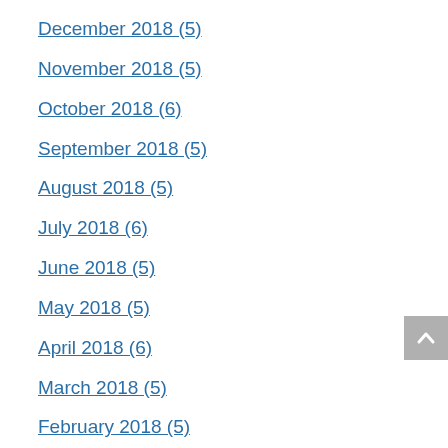December 2018 (5)
November 2018 (5)
October 2018 (6)
September 2018 (5)
August 2018 (5)
July 2018 (6)
June 2018 (5)
May 2018 (5)
April 2018 (6)
March 2018 (5)
February 2018 (5)
January 2018 (6)
December 2017 (6)